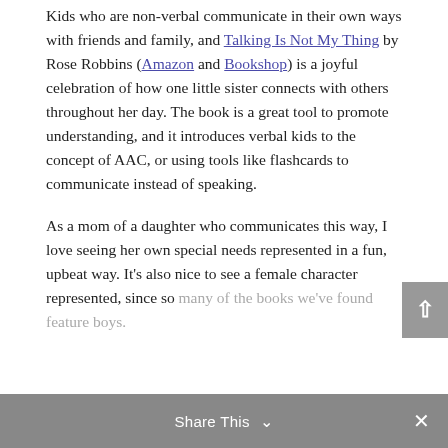Kids who are non-verbal communicate in their own ways with friends and family, and Talking Is Not My Thing by Rose Robbins (Amazon and Bookshop) is a joyful celebration of how one little sister connects with others throughout her day. The book is a great tool to promote understanding, and it introduces verbal kids to the concept of AAC, or using tools like flashcards to communicate instead of speaking.
As a mom of a daughter who communicates this way, I love seeing her own special needs represented in a fun, upbeat way. It's also nice to see a female character represented, since so many of the books we've found feature boys.
Share This ∨  ✕